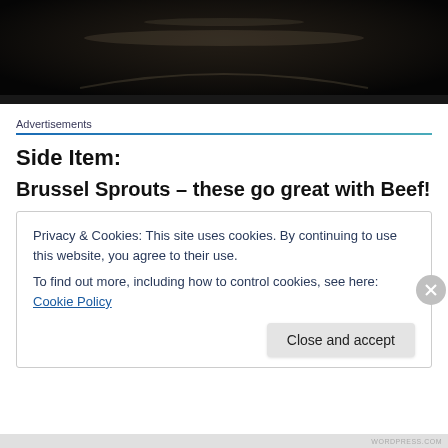[Figure (photo): Dark close-up photo of a cooking pan or surface, mostly black/dark brown tones with slight reflective highlights]
Advertisements
Side Item:
Brussel Sprouts – these go great with Beef!
Privacy & Cookies: This site uses cookies. By continuing to use this website, you agree to their use.
To find out more, including how to control cookies, see here: Cookie Policy
Close and accept